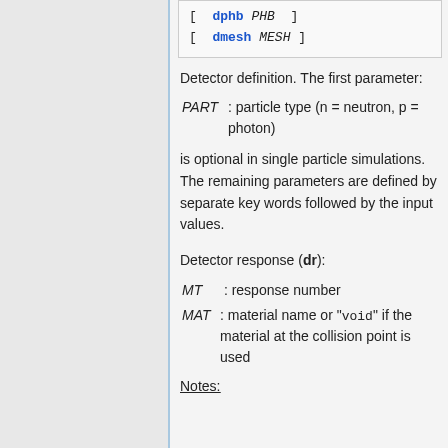[Figure (screenshot): Code block showing syntax: [ dphb PHB ] [ dmesh MESH ]]
Detector definition. The first parameter:
PART : particle type (n = neutron, p = photon)
is optional in single particle simulations. The remaining parameters are defined by separate key words followed by the input values.
Detector response (dr):
MT : response number
MAT : material name or "void" if the material at the collision point is used
Notes: